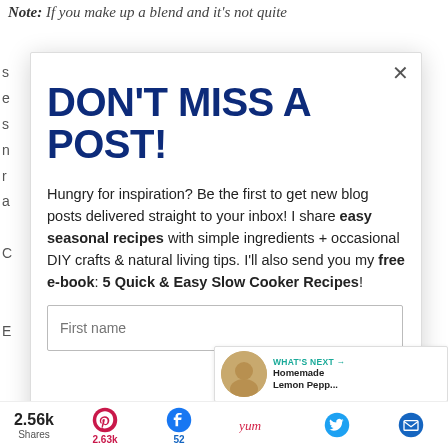Note: If you make up a blend and it's not quite
DON'T MISS A POST!
Hungry for inspiration? Be the first to get new blog posts delivered straight to your inbox! I share easy seasonal recipes with simple ingredients + occasional DIY crafts & natural living tips. I'll also send you my free e-book: 5 Quick & Easy Slow Cooker Recipes!
First name
WHAT'S NEXT → Homemade Lemon Pepp...
2.56k Shares
2.63k
52